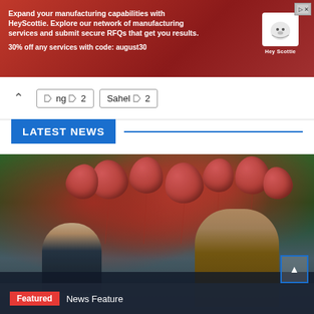[Figure (infographic): HeyScottie advertisement banner with red background, dog logo, text about manufacturing capabilities and 30% off promo code august30]
ng 2  Sahel 2
LATEST NEWS
[Figure (photo): Outdoor protest or rally scene with people holding red heart-shaped balloons, crowd in background, two individuals visible in foreground — one with short dark hair and one wearing a cowboy hat]
Featured  News Feature